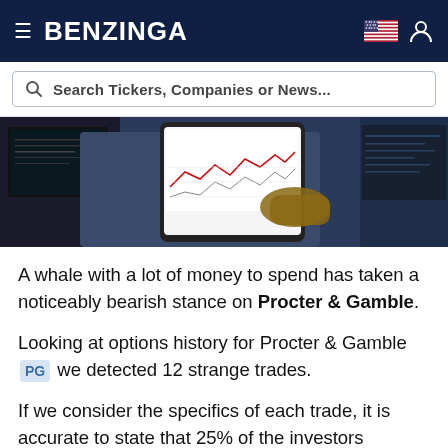BENZINGA
Search Tickers, Companies or News...
[Figure (photo): Close-up photo of a person holding a smartphone showing a stock chart, with a laptop screen in the background showing trading data]
A whale with a lot of money to spend has taken a noticeably bearish stance on Procter & Gamble.
Looking at options history for Procter & Gamble PG we detected 12 strange trades.
If we consider the specifics of each trade, it is accurate to state that 25% of the investors opened trades with bullish expectations and 75% with bearish.